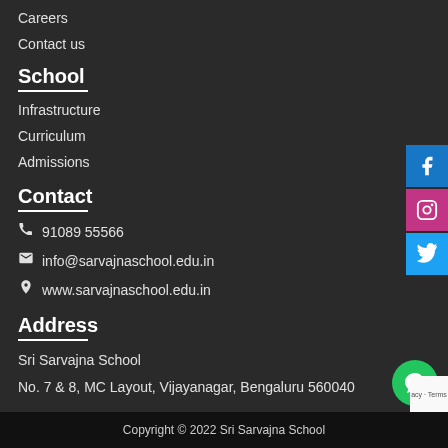Careers
Contact us
School
Infrastructure
Curriculum
Admissions
Contact
91089 55566
info@sarvajnaschool.edu.in
www.sarvajnaschool.edu.in
Address
Sri Sarvajna School
No. 7 & 8, MC Layout, Vijayanagar, Bengaluru 560040
Copyright © 2022 Sri Sarvajna School